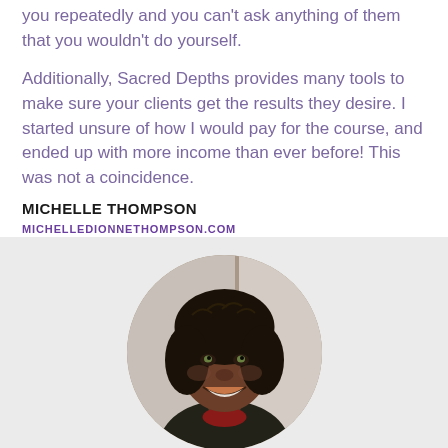you repeatedly and you can't ask anything of them that you wouldn't do yourself.
Additionally, Sacred Depths provides many tools to make sure your clients get the results they desire. I started unsure of how I would pay for the course, and ended up with more income than ever before! This was not a coincidence.
MICHELLE THOMPSON
MICHELLEDIONNETHOMPSON.COM
[Figure (photo): Circular portrait photo of Michelle Thompson, a smiling woman with dark braided hair.]